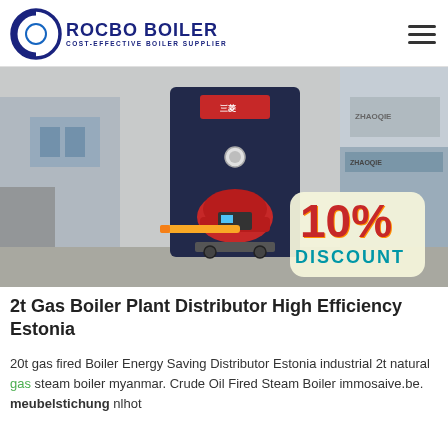ROCBO BOILER - COST-EFFECTIVE BOILER SUPPLIER
[Figure (photo): Industrial gas boiler unit in a warehouse/factory setting. A tall dark blue boiler with a red burner at the front, connected with yellow gas pipes. A '10% DISCOUNT' badge is overlaid at the bottom right.]
2t Gas Boiler Plant Distributor High Efficiency Estonia
20t gas fired Boiler Energy Saving Distributor Estonia industrial 2t natural gas steam boiler myanmar. Crude Oil Fired Steam Boiler immosaive.be. meubelstichting nlhot